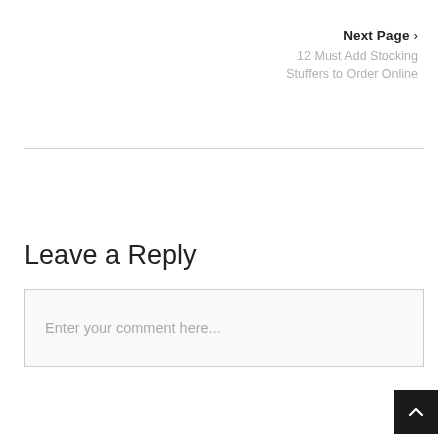Next Page >
12 Must Add Stocking Stuffers to Order Online
Leave a Reply
Enter your comment here...